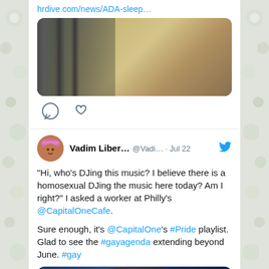hrdive.com/news/ADA-sleep…
[Figure (photo): Hotel room with glass partition and warm-toned bedroom interior]
[Figure (other): Comment and like icons (Twitter interaction icons)]
Vadim Liber… @Vadi… · Jul 22
"Hi, who's DJing this music? I believe there is a homosexual DJing the music here today? Am I right?" I asked a worker at Philly's @CapitalOneCafe.

Sure enough, it's @CapitalOne's #Pride playlist. Glad to see the #gayagenda extending beyond June. #gay
[Figure (photo): Preview image of person under stage lighting with blue background]